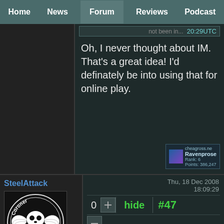Home  News  Forum  Reviews  Podcast
20:29UTC
Oh, I never thought about IM. That's a great idea! I'd definately be into using that for online play.
Ravenprose  Rank: 6  Points: 386,247
Thu, 18 Dec 2008 18:09:29
0  hide  #47
SteelAttack
[Figure (illustration): Coroner band logo - circular logo with skull and wing design in black and white]
RANK: 7 (13733)
I only have gyroids, like three